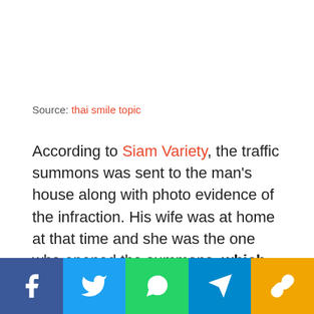Source: thai smile topic
According to Siam Variety, the traffic summons was sent to the man's house along with photo evidence of the infraction. His wife was at home at that time and she was the one who opened the summons, which showed her husband riding his motorcycle with a helmet – but what surprised the wife the most was the female passenger, who wasn't wearing a helmet.
They looked rather cosy together but upon further
[Figure (infographic): Social media sharing bar with Facebook, Twitter, WhatsApp, Telegram, and link sharing buttons]